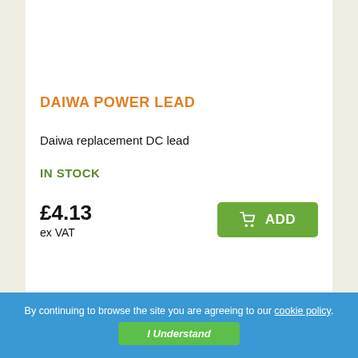DAIWA POWER LEAD
Daiwa replacement DC lead
IN STOCK
£4.13
ex VAT
By continuing to browse the site you are agreeing to our cookie policy.
I Understand